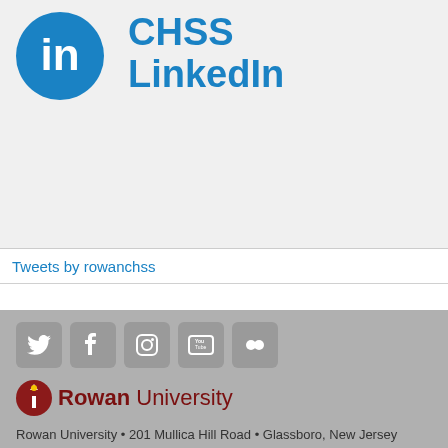[Figure (logo): LinkedIn logo (blue circle with 'in') and CHSS LinkedIn text in blue]
Tweets by rowanchss
[Figure (logo): Social media icons: Twitter, Facebook, Instagram, YouTube, Flickr]
[Figure (logo): Rowan University logo with torch icon and university name]
Rowan University • 201 Mullica Hill Road • Glassboro, New Jersey 08028 • 856-256-4000
Also of Interest:
B.A. in Human Services at Camden